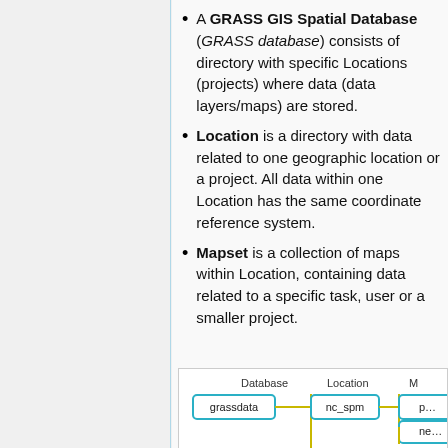A GRASS GIS Spatial Database (GRASS database) consists of directory with specific Locations (projects) where data (data layers/maps) are stored.
Location is a directory with data related to one geographic location or a project. All data within one Location has the same coordinate reference system.
Mapset is a collection of maps within Location, containing data related to a specific task, user or a smaller project.
[Figure (schematic): Diagram showing GRASS GIS database structure with Database (grassdata), Location (nc_spm), and Mapset columns connected by yellow lines with teal-bordered boxes.]